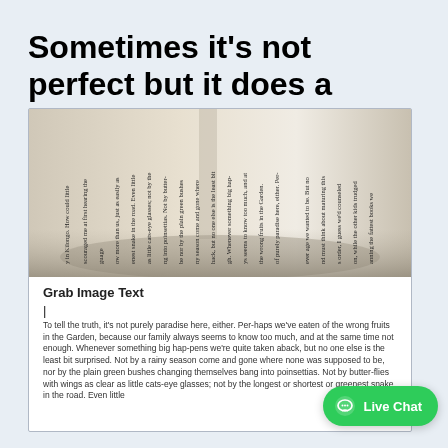Sometimes it's not perfect but it does a pretty good job!
[Figure (screenshot): Screenshot of a mobile app showing a photo of an open book with rotated text, and below it a section labeled 'Grab Image Text' with OCR-extracted text beginning with 'To tell the truth, it's not purely paradise here, either...']
Grab Image Text

|

To tell the truth, it's not purely paradise here, either. Perhaps we've eaten of the wrong fruits in the Garden, because our family always seems to know too much, and at the same time not enough. Whenever something big happens we're quite taken aback, but no one else is the least bit surprised. Not by a rainy season come and gone where none was supposed to be, nor by the plain green bushes changing themselves bang into poinsettias. Not by butterflies with wings as clear as little cats-eye glasses; not by the longest or shortest or greenest snake in the road. Even little